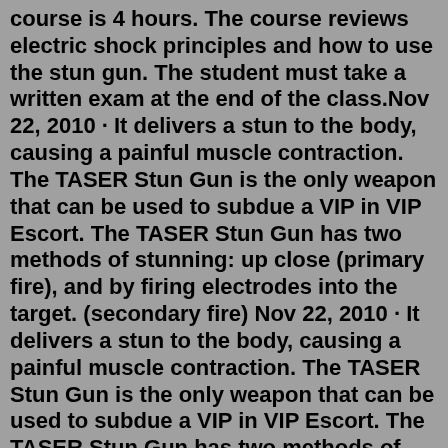course is 4 hours. The course reviews electric shock principles and how to use the stun gun. The student must take a written exam at the end of the class.Nov 22, 2010 · It delivers a stun to the body, causing a painful muscle contraction. The TASER Stun Gun is the only weapon that can be used to subdue a VIP in VIP Escort. The TASER Stun Gun has two methods of stunning: up close (primary fire), and by firing electrodes into the target. (secondary fire) Nov 22, 2010 · It delivers a stun to the body, causing a painful muscle contraction. The TASER Stun Gun is the only weapon that can be used to subdue a VIP in VIP Escort. The TASER Stun Gun has two methods of stunning: up close (primary fire), and by firing electrodes into the target. (secondary fire) Most characteristic of stun gun assault is pairing of lesions approximately 5 cm apart. We discuss the design, operation, and effects of stun guns, and give an extensive differential of abusive and nonabusive circular lesions. Topics: battered child syndrome, child abuse, burns, macule, skin lesion This content is